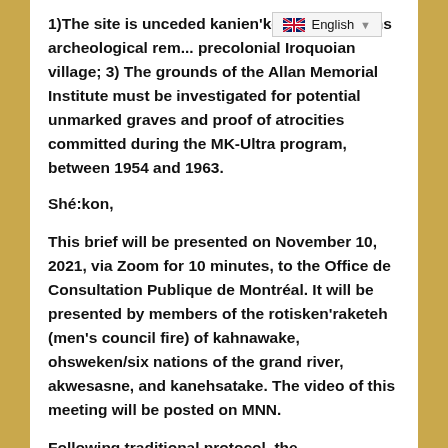1) The site is unceded kanien'ke... site contains archeological rem... precolonial Iroquoian village; 3) The grounds of the Allan Memorial Institute must be investigated for potential unmarked graves and proof of atrocities committed during the MK-Ultra program, between 1954 and 1963.
Shé:kon,
This brief will be presented on November 10, 2021, via Zoom for 10 minutes, to the Office de Consultation Publique de Montréal. It will be presented by members of the rotisken'raketeh (men's council fire) of kahnawake, ohsweken/six nations of the grand river, akwesasne, and kanehsatake. The video of this meeting will be posted on MNN.
Following traditional protocol, the rotisken'raketeh will carry the words of the kanien'kehá:ka kahnistensera (mohawk mothers), who are the caretakers of onowarekeh (turtle island), in custody